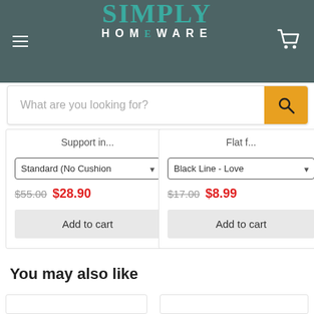[Figure (logo): Simply Homeware website header with teal logo, hamburger menu icon, and shopping cart icon on dark teal background]
[Figure (screenshot): Search bar with placeholder text 'What are you looking for?' and orange search button]
Support in...
Flat f...
Standard (No Cushion
Black Line - Love
$55.00  $28.90
$17.00  $8.99
Add to cart
Add to cart
You may also like